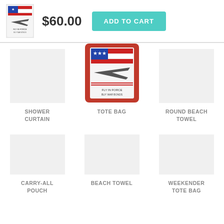[Figure (screenshot): Product thumbnail image showing a WWII airplane poster with American flag]
$60.00
ADD TO CART
SHOWER CURTAIN
[Figure (photo): Tote bag product image with red background showing WWII airplane poster]
TOTE BAG
ROUND BEACH TOWEL
CARRY-ALL POUCH
BEACH TOWEL
WEEKENDER TOTE BAG